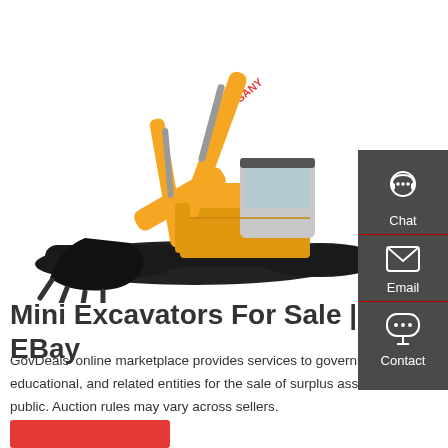[Figure (photo): Yellow SANY excavator/mini excavator on white background]
Mini Excavators For Sale | EBay
GovDeals' online marketplace provides services to government, educational, and related entities for the sale of surplus assets to the public. Auction rules may vary across sellers.